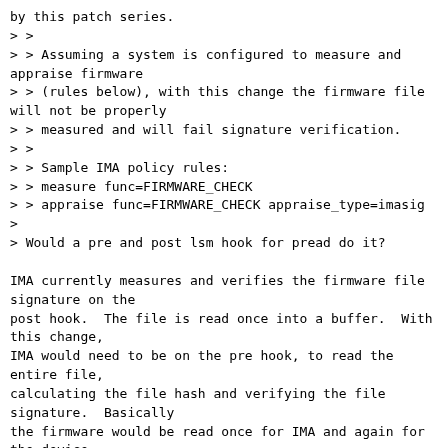by this patch series.
> >
> > Assuming a system is configured to measure and appraise firmware
> > (rules below), with this change the firmware file will not be properly
> > measured and will fail signature verification.
> >
> > Sample IMA policy rules:
> > measure func=FIRMWARE_CHECK
> > appraise func=FIRMWARE_CHECK appraise_type=imasig
>
> Would a pre and post lsm hook for pread do it?

IMA currently measures and verifies the firmware file signature on the
post hook.  The file is read once into a buffer.  With this change,
IMA would need to be on the pre hook, to read the entire file,
calculating the file hash and verifying the file signature.  Basically
the firmware would be read once for IMA and again for the device.

Mimi
^ permalink raw reply   [flat|nested] 38+ messages in thread